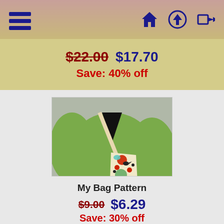Navigation header with hamburger menu and home, upload, login icons
$22.00  $17.70  Save: 40% off
[Figure (photo): A person wearing a green long-sleeve top with a decorative patterned crossbody bag featuring colorful embroidered/printed designs including dots, circles, and folk art motifs on a light background.]
My Bag Pattern
$9.00  $6.29  Save: 30% off